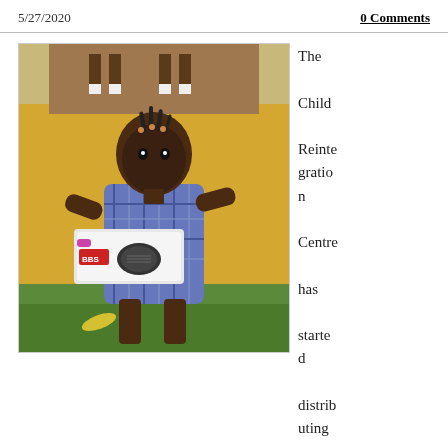5/27/2020    0 Comments
[Figure (photo): A young girl wearing a blue plaid dress, standing outdoors in front of a yellow wall with a mural. She is holding a box containing a solar-powered radio (BBS brand). Green grass is visible in the background.]
The Child Reintegration Centre has started distributing solar
powered radios to students so they can follow the daily